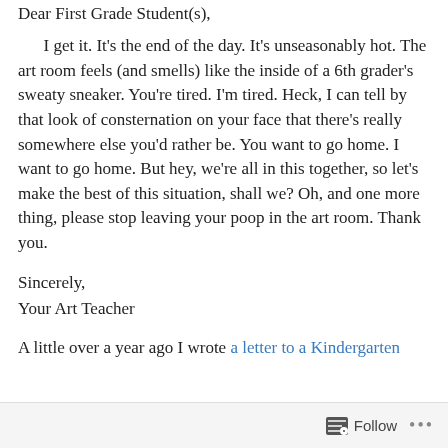Dear First Grade Student(s),
I get it. It's the end of the day. It's unseasonably hot. The art room feels (and smells) like the inside of a 6th grader's sweaty sneaker. You're tired. I'm tired. Heck, I can tell by that look of consternation on your face that there's really somewhere else you'd rather be. You want to go home. I want to go home. But hey, we're all in this together, so let's make the best of this situation, shall we? Oh, and one more thing, please stop leaving your poop in the art room. Thank you.
Sincerely,
Your Art Teacher
A little over a year ago I wrote a letter to a Kindergarten student about the...